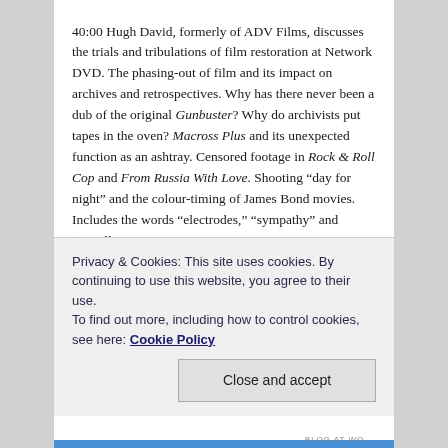40:00 Hugh David, formerly of ADV Films, discusses the trials and tribulations of film restoration at Network DVD. The phasing-out of film and its impact on archives and retrospectives. Why has there never been a dub of the original Gunbuster? Why do archivists put tapes in the oven? Macross Plus and its unexpected function as an ashtray. Censored footage in Rock & Roll Cop and From Russia With Love. Shooting “day for night” and the colour-timing of James Bond movies. Includes the words “electrodes,” “sympathy” and “Nigella.”
61:00 Ask Manga UK. Twinings Tea adverts and their role in anime history. Hiroyuki Yamaga’s advice on becoming a
Privacy & Cookies: This site uses cookies. By continuing to use this website, you agree to their use.
To find out more, including how to control cookies, see here: Cookie Policy